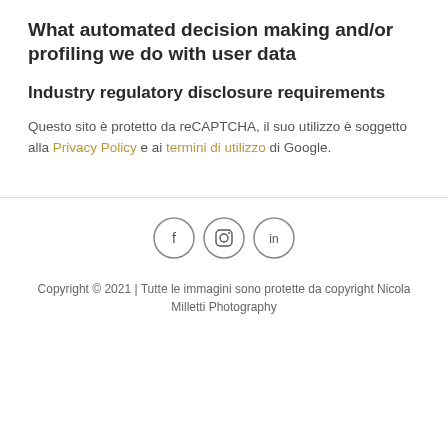What automated decision making and/or profiling we do with user data
Industry regulatory disclosure requirements
Questo sito è protetto da reCAPTCHA, il suo utilizzo è soggetto alla Privacy Policy e ai termini di utilizzo di Google.
[Figure (illustration): Three social media icon circles: Facebook (f), Instagram (camera icon), LinkedIn (in)]
Copyright © 2021 | Tutte le immagini sono protette da copyright Nicola Milletti Photography